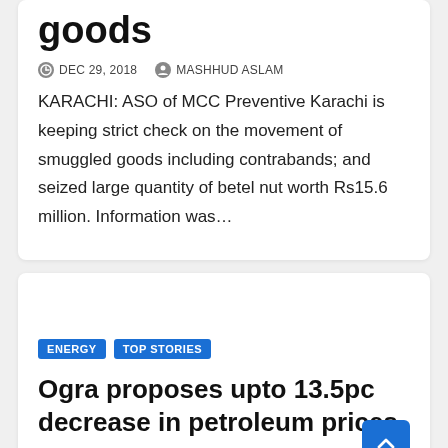goods
DEC 29, 2018   MASHHUD ASLAM
KARACHI: ASO of MCC Preventive Karachi is keeping strict check on the movement of smuggled goods including contrabands; and seized large quantity of betel nut worth Rs15.6 million. Information was…
ENERGY   TOP STORIES
Ogra proposes upto 13.5pc decrease in petroleum prices
DEC 29, 2018   MASHHUD ASLAM